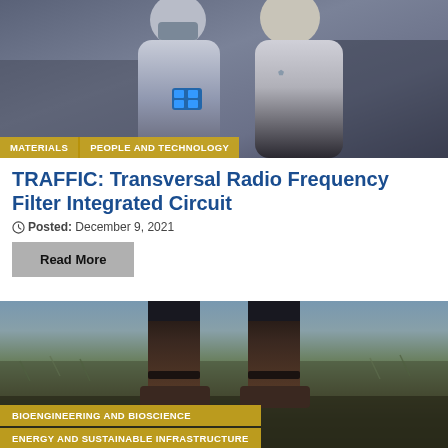[Figure (photo): Two people standing in a laboratory or indoor setting, one appears to be holding a blue object. Photo taken in dim indoor lighting.]
MATERIALS
PEOPLE AND TECHNOLOGY
TRAFFIC: Transversal Radio Frequency Filter Integrated Circuit
Posted: December 9, 2021
Read More
[Figure (photo): Close-up photo of two boots standing on grass and soil in an outdoor field setting.]
BIOENGINEERING AND BIOSCIENCE
ENERGY AND SUSTAINABLE INFRASTRUCTURE